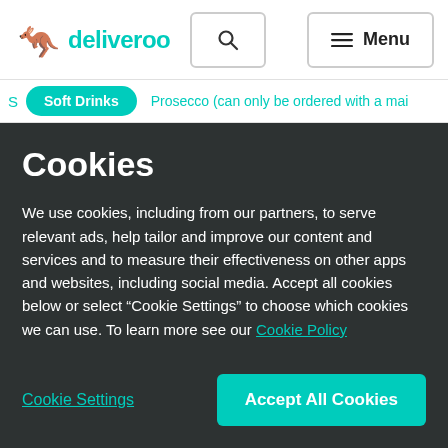deliveroo
Soft Drinks  Prosecco (can only be ordered with a mai
Cookies
We use cookies, including from our partners, to serve relevant ads, help tailor and improve our content and services and to measure their effectiveness on other apps and websites, including social media. Accept all cookies below or select “Cookie Settings” to choose which cookies we can use. To learn more see our Cookie Policy
Cookie Settings
Accept All Cookies